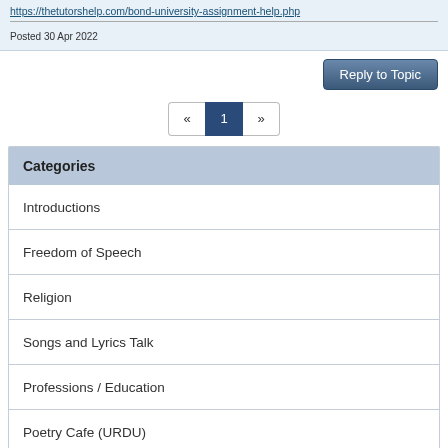https://thetutorshelp.com/bond-university-assignment-help.php
Posted 30 Apr 2022
Reply to Topic
« 1 »
Categories
Introductions
Freedom of Speech
Religion
Songs and Lyrics Talk
Professions / Education
Poetry Cafe (URDU)